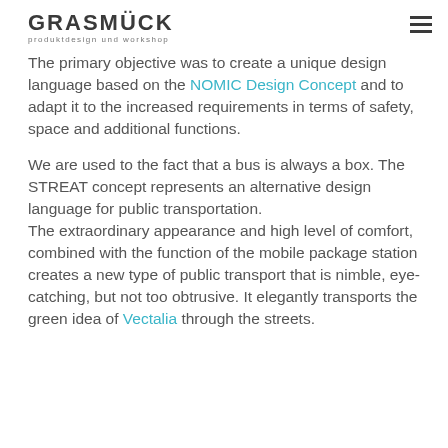GRASMÜCK produktdesign und workshop
The primary objective was to create a unique design language based on the NOMIC Design Concept and to adapt it to the increased requirements in terms of safety, space and additional functions.
We are used to the fact that a bus is always a box. The STREAT concept represents an alternative design language for public transportation.
The extraordinary appearance and high level of comfort, combined with the function of the mobile package station creates a new type of public transport that is nimble, eye-catching, but not too obtrusive. It elegantly transports the green idea of Vectalia through the streets.